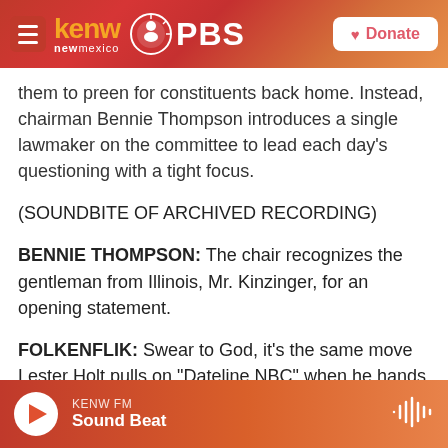KENW New Mexico PBS — Donate
them to preen for constituents back home. Instead, chairman Bennie Thompson introduces a single lawmaker on the committee to lead each day's questioning with a tight focus.
(SOUNDBITE OF ARCHIVED RECORDING)
BENNIE THOMPSON: The chair recognizes the gentleman from Illinois, Mr. Kinzinger, for an opening statement.
FOLKENFLIK: Swear to God, it's the same move Lester Holt pulls on "Dateline NBC" when he hands off to each segment's lead correspondent.
KENW FM — Sound Beat